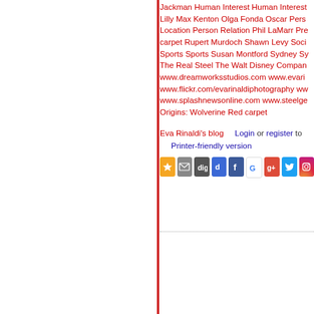Jackman Human Interest Human Interest Lilly Max Kenton Olga Fonda Oscar Person Location Person Relation Phil LaMarr Pre carpet Rupert Murdoch Shawn Levy Social Sports Sports Susan Montford Sydney Sy The Real Steel The Walt Disney Company www.dreamworksstudios.com www.evari www.flickr.com/evarinaldiphotography ww www.splashnewsonline.com www.steelge Origins: Wolverine Red carpet
Eva Rinaldi's blog    Login or register to Printer-friendly version
[Figure (infographic): Social sharing icon buttons: star/favorites (yellow), email (grey), digg (dark), delicious (blue), facebook (blue), Google (white), G+ (red), Twitter (blue), Instagram (gradient)]